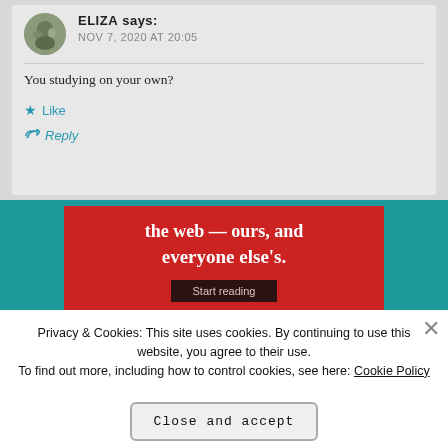ELIZA says:
NOV 7, 2020 AT 20:05
You studying on your own?
★ Like
↩ Reply
[Figure (screenshot): Red advertisement banner with white text reading 'the web — ours, and everyone else's.' and a 'Start reading' button]
Privacy & Cookies: This site uses cookies. By continuing to use this website, you agree to their use.
To find out more, including how to control cookies, see here: Cookie Policy
Close and accept